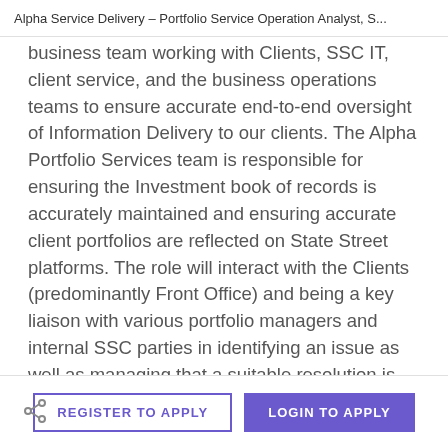Alpha Service Delivery – Portfolio Service Operation Analyst, S...
business team working with Clients, SSC IT, client service, and the business operations teams to ensure accurate end-to-end oversight of Information Delivery to our clients. The Alpha Portfolio Services team is responsible for ensuring the Investment book of records is accurately maintained and ensuring accurate client portfolios are reflected on State Street platforms. The role will interact with the Clients (predominantly Front Office) and being a key liaison with various portfolio managers and internal SSC parties in identifying an issue as well as managing that a suitable resolution is found and communicated to the Client. The role will need to initiate and develop good communication and interpersonal relationship with business operations teams and IT and to maintain the high level of service that is currently
REGISTER TO APPLY   LOGIN TO APPLY